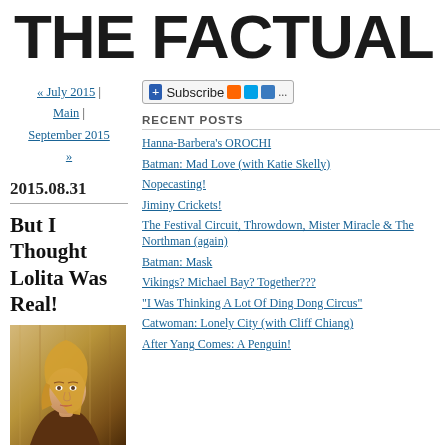THE FACTUAL C
« July 2015 | Main | September 2015 »
Subscribe ...
RECENT POSTS
2015.08.31
But I Thought Lolita Was Real!
[Figure (photo): Photo of a blonde woman looking to the side, against a wooden background]
Hanna-Barbera's OROCHI
Batman: Mad Love (with Katie Skelly)
Nopecasting!
Jiminy Crickets!
The Festival Circuit, Throwdown, Mister Miracle & The Northman (again)
Batman: Mask
Vikings? Michael Bay? Together???
"I Was Thinking A Lot Of Ding Dong Circus"
Catwoman: Lonely City (with Cliff Chiang)
After Yang Comes: A Penguin!